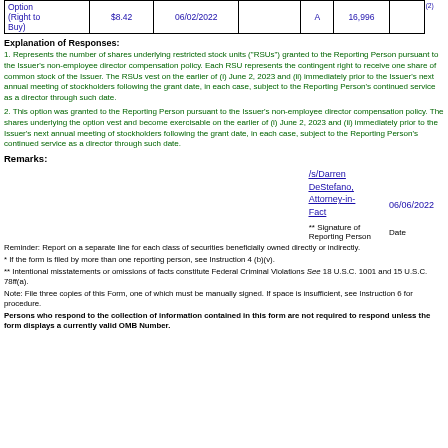|  | $8.42 | 06/02/2022 |  | A | 16,996 |  | (2) |
| --- | --- | --- | --- | --- | --- | --- | --- |
| Option (Right to Buy) | $8.42 | 06/02/2022 |  | A | 16,996 |  | (2) |
Explanation of Responses:
1. Represents the number of shares underlying restricted stock units ("RSUs") granted to the Reporting Person pursuant to the Issuer's non-employee director compensation policy. Each RSU represents the contingent right to receive one share of common stock of the Issuer. The RSUs vest on the earlier of (i) June 2, 2023 and (ii) immediately prior to the Issuer's next annual meeting of stockholders following the grant date, in each case, subject to the Reporting Person's continued service as a director through such date.
2. This option was granted to the Reporting Person pursuant to the Issuer's non-employee director compensation policy. The shares underlying the option vest and become exercisable on the earlier of (i) June 2, 2023 and (ii) immediately prior to the Issuer's next annual meeting of stockholders following the grant date, in each case, subject to the Reporting Person's continued service as a director through such date.
Remarks:
/s/Darren DeStefano, Attorney-in-Fact  06/06/2022
** Signature of Reporting Person  Date
Reminder: Report on a separate line for each class of securities beneficially owned directly or indirectly.
* If the form is filed by more than one reporting person, see Instruction 4 (b)(v).
** Intentional misstatements or omissions of facts constitute Federal Criminal Violations See 18 U.S.C. 1001 and 15 U.S.C. 78ff(a).
Note: File three copies of this Form, one of which must be manually signed. If space is insufficient, see Instruction 6 for procedure.
Persons who respond to the collection of information contained in this form are not required to respond unless the form displays a currently valid OMB Number.